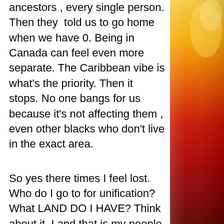ancestors , every single person. Then they told us to go home when we have 0. Being in Canada can feel even more separate. The Caribbean vibe is what's the priority. Then it stops. No one bangs for us because it's not affecting them , even other blacks who don't live in the exact area.
So yes there times I feel lost. Who do I go to for unification? What LAND DO I HAVE? Think about it. Land that is my people land. We have none. We have 0. We need to overstand this issue.
Yes I do suggest buying back land and creating our own community. I'm not a
[Figure (photo): A photo with warm red, orange, and yellow tones on the right side of the page, appearing to show a light source or abstract warm-colored image.]